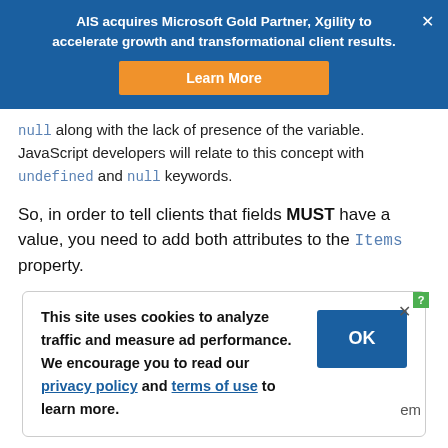[Figure (screenshot): Blue banner advertisement: 'AIS acquires Microsoft Gold Partner, Xgility to accelerate growth and transformational client results.' with an orange 'Learn More' button and a close X.]
null along with the lack of presence of the variable. JavaScript developers will relate to this concept with undefined and null keywords.
So, in order to tell clients that fields MUST have a value, you need to add both attributes to the Items property.
[Figure (screenshot): Cookie consent popup: 'This site uses cookies to analyze traffic and measure ad performance. We encourage you to read our privacy policy and terms of use to learn more.' with an OK button and close X.]
The results: